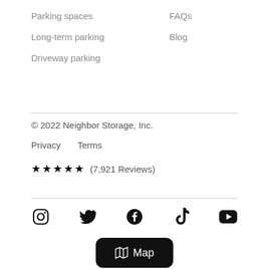Parking spaces
FAQs
Long-term parking
Blog
Driveway parking
© 2022 Neighbor Storage, Inc.
Privacy
Terms
★★★★★ (7,921 Reviews)
[Figure (other): Social media icons: Instagram, Twitter, Facebook, TikTok, YouTube]
🗺 Map